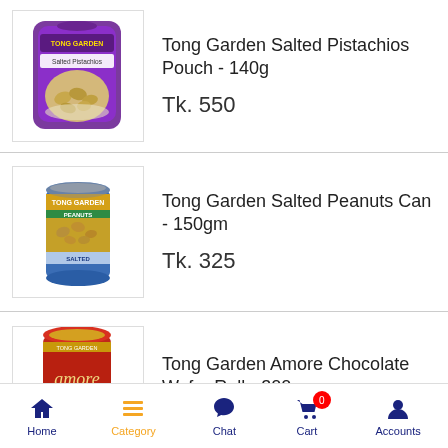[Figure (photo): Tong Garden Salted Pistachios Pouch product image, purple packaging]
Tong Garden Salted Pistachios Pouch - 140g
Tk. 550
[Figure (photo): Tong Garden Salted Peanuts Can product image, blue/green can]
Tong Garden Salted Peanuts Can - 150gm
Tk. 325
[Figure (photo): Tong Garden Amore Chocolate Wafer Roll product image, red tin]
Tong Garden Amore Chocolate Wafer Roll - 300g
Home  Category  Chat  Cart  0  Accounts